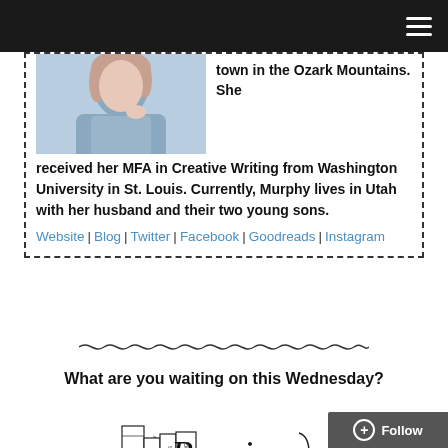Navigation bar with hamburger menu
town in the Ozark Mountains. She received her MFA in Creative Writing from Washington University in St. Louis. Currently, Murphy lives in Utah with her husband and their two young sons.
Website | Blog | Twitter | Facebook | Goodreads | Instagram
[Figure (illustration): Decorative wavy divider line]
What are you waiting on this Wednesday?
[Figure (logo): Books illustration with cursive signature 'Bonnie']
Follow